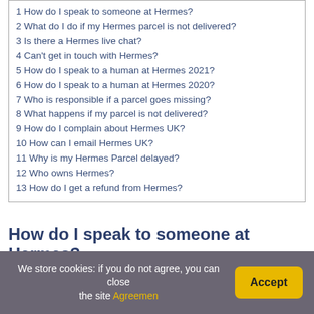1 How do I speak to someone at Hermes?
2 What do I do if my Hermes parcel is not delivered?
3 Is there a Hermes live chat?
4 Can't get in touch with Hermes?
5 How do I speak to a human at Hermes 2021?
6 How do I speak to a human at Hermes 2020?
7 Who is responsible if a parcel goes missing?
8 What happens if my parcel is not delivered?
9 How do I complain about Hermes UK?
10 How can I email Hermes UK?
11 Why is my Hermes Parcel delayed?
12 Who owns Hermes?
13 How do I get a refund from Hermes?
How do I speak to someone at Hermes?
We store cookies: if you do not agree, you can close the site Agreemen